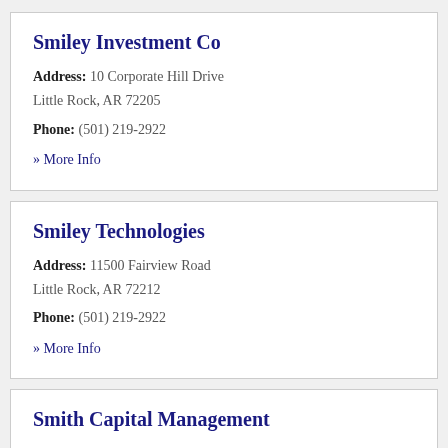Smiley Investment Co
Address: 10 Corporate Hill Drive
Little Rock, AR 72205
Phone: (501) 219-2922
» More Info
Smiley Technologies
Address: 11500 Fairview Road
Little Rock, AR 72212
Phone: (501) 219-2922
» More Info
Smith Capital Management